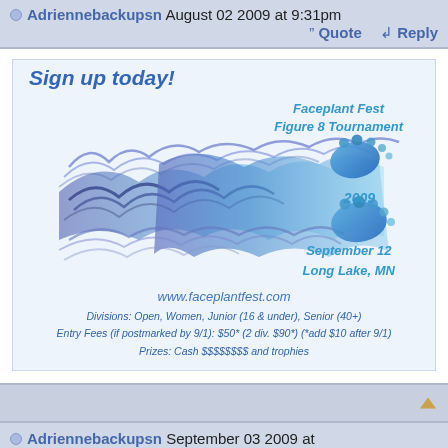Adriennebackupsn August 02 2009 at 9:31pm
Quote   Reply
[Figure (illustration): Faceplant Fest Figure 8 Tournament 2009 flyer with text 'Sign up today!', flame/wave graphic with blue footprints, date September 12, Long Lake MN, website www.faceplantfest.com, and divisions/fees info]
Adriennebackupsn September 03 2009 at